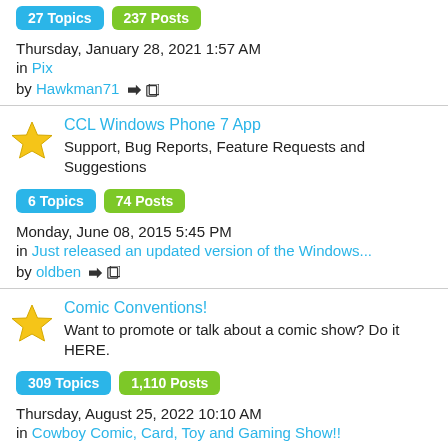27 Topics  237 Posts
Thursday, January 28, 2021 1:57 AM
in Pix
by Hawkman71
CCL Windows Phone 7 App
Support, Bug Reports, Feature Requests and Suggestions
6 Topics  74 Posts
Monday, June 08, 2015 5:45 PM
in Just released an updated version of the Windows...
by oldben
Comic Conventions!
Want to promote or talk about a comic show? Do it HERE.
309 Topics  1,110 Posts
Thursday, August 25, 2022 10:10 AM
in Cowboy Comic, Card, Toy and Gaming Show!!
by pottersan